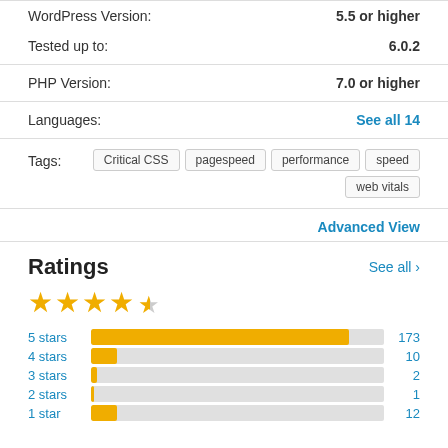WordPress Version: 5.5 or higher
Tested up to: 6.0.2
PHP Version: 7.0 or higher
Languages: See all 14
Tags: Critical CSS, pagespeed, performance, speed, web vitals
Advanced View
Ratings
[Figure (bar-chart): Ratings]